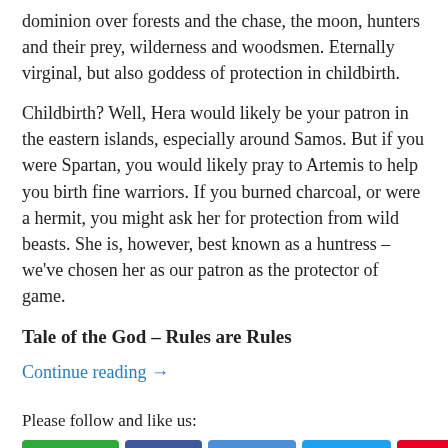dominion over forests and the chase, the moon, hunters and their prey, wilderness and woodsmen. Eternally virginal, but also goddess of protection in childbirth.
Childbirth? Well, Hera would likely be your patron in the eastern islands, especially around Samos. But if you were Spartan, you would likely pray to Artemis to help you birth fine warriors. If you burned charcoal, or were a hermit, you might ask her for protection from wild beasts. She is, however, best known as a huntress – we've chosen her as our patron as the protector of game.
Tale of the God – Rules are Rules
Continue reading →
Please follow and like us:
[Figure (other): Social media buttons: Follow (green), Like (blue), Share (light blue), Tweet (Twitter blue), Save (Pinterest red)]
Posted in Announcements, Mythic Mondays | Tagged